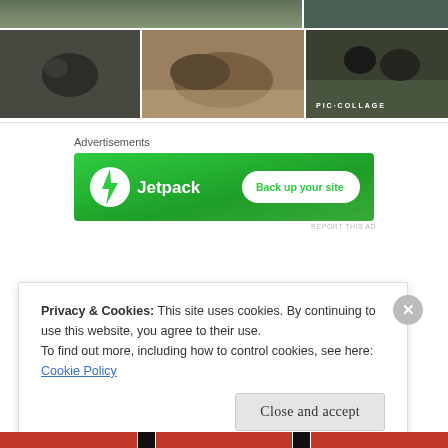[Figure (photo): Photo collage of cats: top row shows two cat photos side by side, bottom row shows three cat photos including a black and white cat on a dark bed, a tabby cat lying on a blanket, and dark cats on a green surface. 'PIC·COLLAGE' watermark on bottom right image.]
Advertisements
[Figure (screenshot): Jetpack advertisement banner with green background showing Jetpack logo and text 'Back up your site' button]
REPORT THIS AD
Privacy & Cookies: This site uses cookies. By continuing to use this website, you agree to their use.
To find out more, including how to control cookies, see here: Cookie Policy
Close and accept